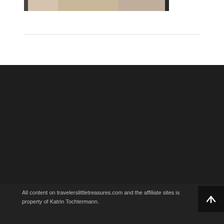[Figure (photo): Partial view of a room/hotel interior image at the top of the page, cropped]
All content on travelerslittletreasures.com and the affiliate sites is property of Katrin Tochtermann.